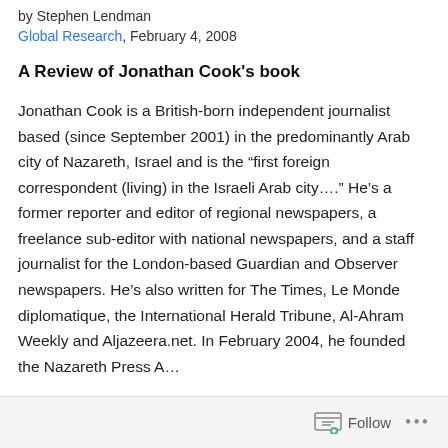by Stephen Lendman
Global Research, February 4, 2008
A Review of Jonathan Cook's book
Jonathan Cook is a British-born independent journalist based (since September 2001) in the predominantly Arab city of Nazareth, Israel and is the “first foreign correspondent (living) in the Israeli Arab city….” He’s a former reporter and editor of regional newspapers, a freelance sub-editor with national newspapers, and a staff journalist for the London-based Guardian and Observer newspapers. He’s also written for The Times, Le Monde diplomatique, the International Herald Tribune, Al-Ahram Weekly and Aljazeera.net. In February 2004, he founded the Nazareth Press A…
Follow •••